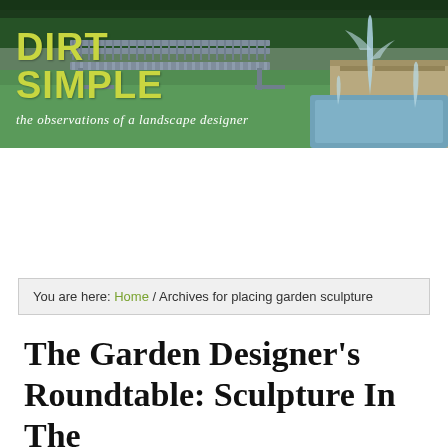[Figure (photo): Header banner photo of a garden with a metal bench, water fountain/jets, green lawn and hedges. Overlaid with 'DIRT SIMPLE' logo text in yellow-green and tagline 'the observations of a landscape designer' in white italic script.]
You are here: Home / Archives for placing garden sculpture
The Garden Designer's Roundtable: Sculpture In The